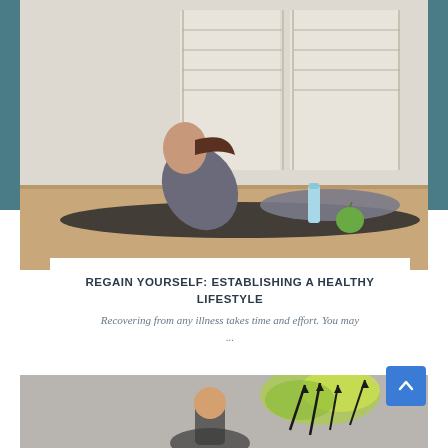[Figure (photo): Woman in grey athletic wear doing a sit-up on a black exercise mat on a wooden floor, with a water bottle and apple nearby, windows in the background.]
REGAIN YOURSELF: ESTABLISHING A HEALTHY LIFESTYLE
Recovering from any illness takes time and effort. You may ...
[Figure (photo): Person touching a grey wall with colorful abstract paint splatter in green and yellow tones with dark arrow-like brush strokes.]